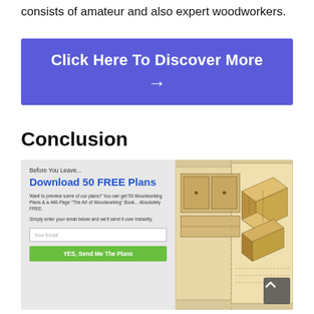consists of amateur and also expert woodworkers.
[Figure (other): Blue/purple call-to-action button with text 'Click Here To Discover More' and arrow symbol]
Conclusion
[Figure (infographic): Promotional signup box: 'Before You Leave... Download 50 FREE Plans' with email input, green 'YES, Send Me The Plans' button, and woodworking plan diagrams on the right side]